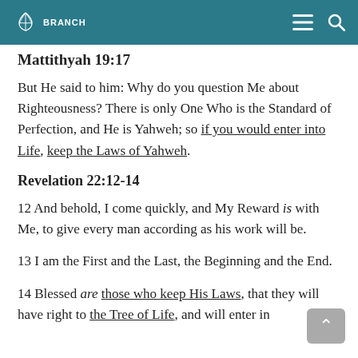BRANCH [logo] [hamburger menu] [search icon]
Mattithyah 19:17
But He said to him: Why do you question Me about Righteousness? There is only One Who is the Standard of Perfection, and He is Yahweh; so if you would enter into Life, keep the Laws of Yahweh.
Revelation 22:12-14
12 And behold, I come quickly, and My Reward is with Me, to give every man according as his work will be.
13 I am the First and the Last, the Beginning and the End.
14 Blessed are those who keep His Laws, that they will have right to the Tree of Life, and will enter in